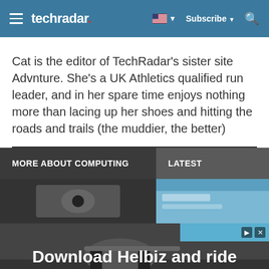techradar
Cat is the editor of TechRadar's sister site Advnture. She's a UK Athletics qualified run leader, and in her spare time enjoys nothing more than lacing up her shoes and hitting the roads and trails (the muddier, the better)
MORE ABOUT COMPUTING
LATEST
[Figure (photo): Article thumbnail image - dark photograph]
[Figure (photo): Article thumbnail image - blue toned photo]
[Figure (photo): Advertisement banner: Download Helbiz and ride - scooter handlebar image]